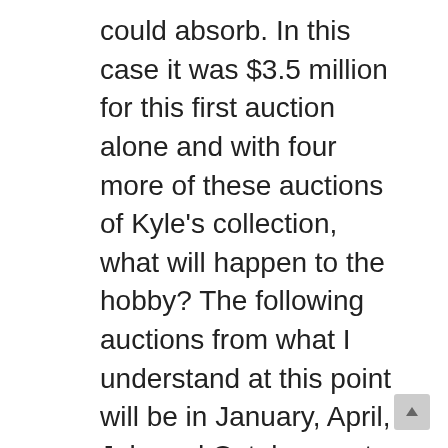could absorb. In this case it was $3.5 million for this first auction alone and with four more of these auctions of Kyle’s collection, what will happen to the hobby? The following auctions from what I understand at this point will be in January, April, July and October next year. I wouldn’t say this first one hit us hard, as we all got back on our feet and shook it off fairly well! I really don’t think the hobby took any kind of big hit. I do know though that we all went home with a couple great pieces for our collections! There was no one person that “cleaned house” per se. A few guys bought strong on some signs and globes but with an auction that large it